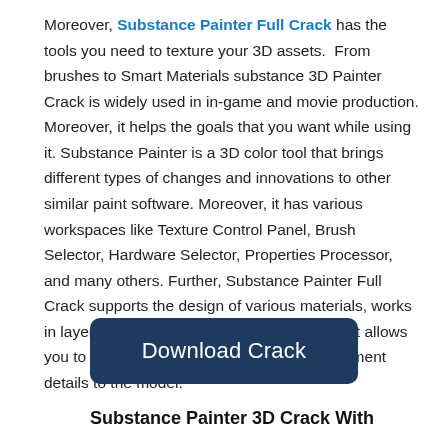Moreover, Substance Painter Full Crack has the tools you need to texture your 3D assets.  From brushes to Smart Materials substance 3D Painter Crack is widely used in in-game and movie production. Moreover, it helps the goals that you want while using it. Substance Painter is a 3D color tool that brings different types of changes and innovations to other similar paint software. Moreover, it has various workspaces like Texture Control Panel, Brush Selector, Hardware Selector, Properties Processor, and many others. Further, Substance Painter Full Crack supports the design of various materials, works in layers, and improves the overall workflow. It allows you to support particle painting and apply element details to the model.
[Figure (other): Dark blue rounded rectangle button with white text reading 'Download Crack']
Substance Painter 3D Crack With